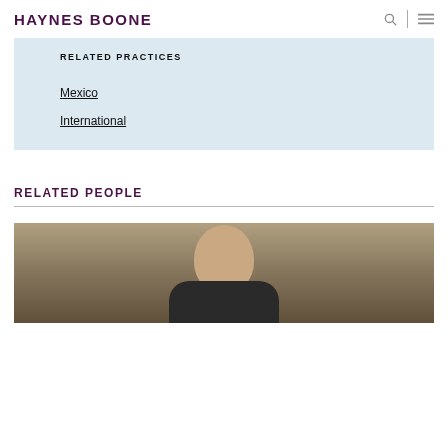HAYNES BOONE
RELATED PRACTICES
Mexico
International
RELATED PEOPLE
[Figure (photo): Portrait photo of a man in a suit, partial view showing head and upper body, blurred office background]